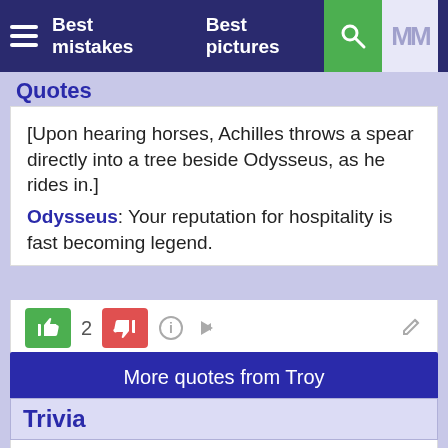Best mistakes  Best pictures
Quotes
[Upon hearing horses, Achilles throws a spear directly into a tree beside Odysseus, as he rides in.] Odysseus: Your reputation for hospitality is fast becoming legend.
More quotes from Troy
Trivia
Trivia: Near the end of the movie, Paris hands the Sword of Troy off to a young man called Aeneas saying something along the lines of "Troy will always have a future so long as this sword is held by a Trojan." This was a little nod to Virgil's Aeneid which describes the travels of Aeneas after the Trojan War and who was an